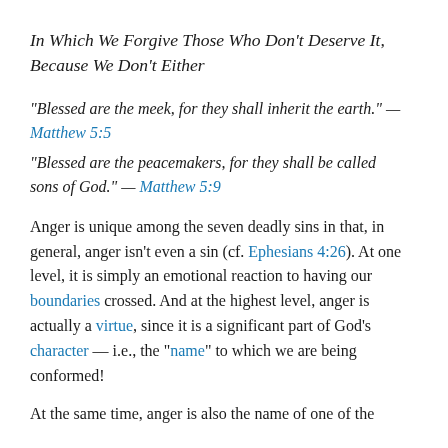In Which We Forgive Those Who Don't Deserve It, Because We Don't Either
“Blessed are the meek, for they shall inherit the earth.” — Matthew 5:5
“Blessed are the peacemakers, for they shall be called sons of God.” — Matthew 5:9
Anger is unique among the seven deadly sins in that, in general, anger isn’t even a sin (cf. Ephesians 4:26). At one level, it is simply an emotional reaction to having our boundaries crossed. And at the highest level, anger is actually a virtue, since it is a significant part of God’s character — i.e., the “name” to which we are being conformed!
At the same time, anger is also the name of one of the